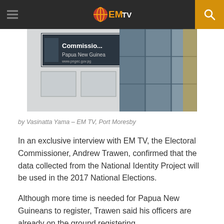EM TV
[Figure (photo): Photograph of a building exterior showing a sign that reads 'Commissioner Papua New Guinea' with a website URL, alongside glass windows reflecting surroundings.]
by Vasinatta Yama – EM TV, Port Moresby
In an exclusive interview with EM TV, the Electoral Commissioner, Andrew Trawen, confirmed that the data collected from the National Identity Project will be used in the 2017 National Elections.
Although more time is needed for Papua New Guineans to register, Trawen said his officers are already on the ground registering.